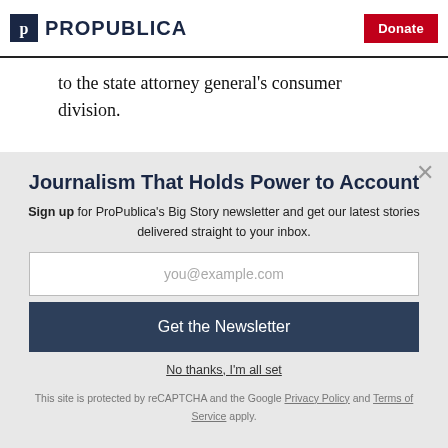ProPublica | Donate
to the state attorney general's consumer division.
Journalism That Holds Power to Account
Sign up for ProPublica's Big Story newsletter and get our latest stories delivered straight to your inbox.
you@example.com
Get the Newsletter
No thanks, I'm all set
This site is protected by reCAPTCHA and the Google Privacy Policy and Terms of Service apply.